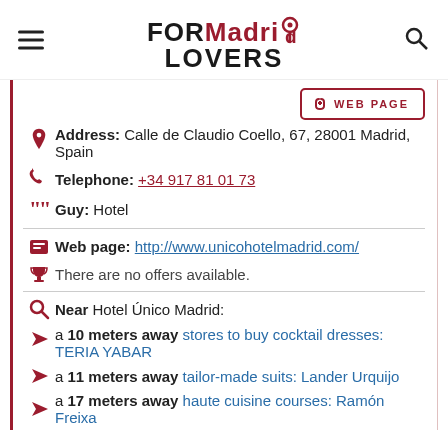FOR Madrid LOVERS
Address: Calle de Claudio Coello, 67, 28001 Madrid, Spain
Telephone: +34 917 81 01 73
Guy: Hotel
Web page: http://www.unicohotelmadrid.com/
There are no offers available.
Near Hotel Único Madrid:
a 10 meters away stores to buy cocktail dresses: TERIA YABAR
a 11 meters away tailor-made suits: Lander Urquijo
a 17 meters away haute cuisine courses: Ramón Freixa